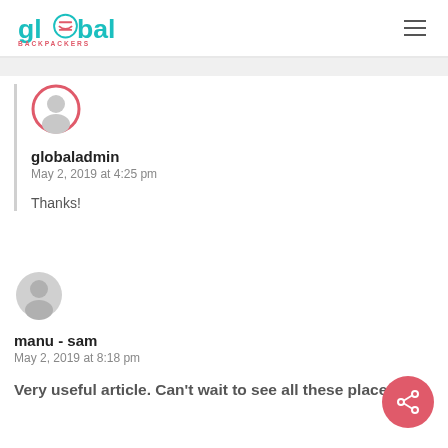global backpackers
[Figure (illustration): User avatar icon with red circle border - globaladmin]
globaladmin
May 2, 2019 at 4:25 pm
Thanks!
[Figure (illustration): Grey default user avatar icon - manu - sam]
manu - sam
May 2, 2019 at 8:18 pm
Very useful article. Can't wait to see all these places!